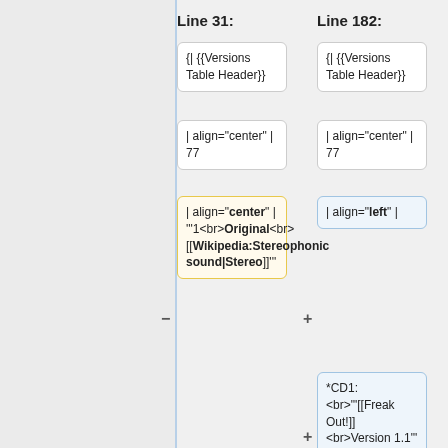Line 31:
Line 182:
{| {{Versions Table Header}}
{| {{Versions Table Header}}
| align="center" | 77
| align="center" | 77
| align="center" | '''1<br>Original<br>[[Wikipedia:Stereophonic sound|Stereo]]'''
| align="left" |
*CD1: <br>"'[[Freak Out!]] <br>Version 1.1"'
*CD2, 3 & 4: <br>"'"Audio<br>Documentary<b